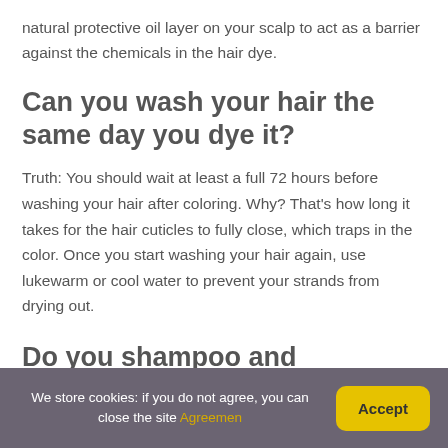natural protective oil layer on your scalp to act as a barrier against the chemicals in the hair dye.
Can you wash your hair the same day you dye it?
Truth: You should wait at least a full 72 hours before washing your hair after coloring. Why? That's how long it takes for the hair cuticles to fully close, which traps in the color. Once you start washing your hair again, use lukewarm or cool water to prevent your strands from drying out.
Do you shampoo and
We store cookies: if you do not agree, you can close the site Agreemen
Accept